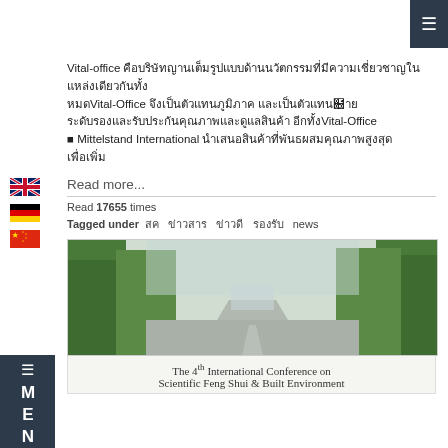Vital-office ████████████████████████████████████████████████████████Vital-Office █████████████████████████ ████████████████████████████████████████████████████████ ████████ Vital-Office ■ Mittelstand International ████████████████████████████████
Read more...
Read 17655 times
Tagged under  ■  ████  ████  ████  news
[Figure (photo): Photograph of a tree-lined road leading to a building, used as banner for The 4th International Conference on Scientific Feng Shui & Built Environment]
The 4th International Conference on Scientific Feng Shui & Built Environment